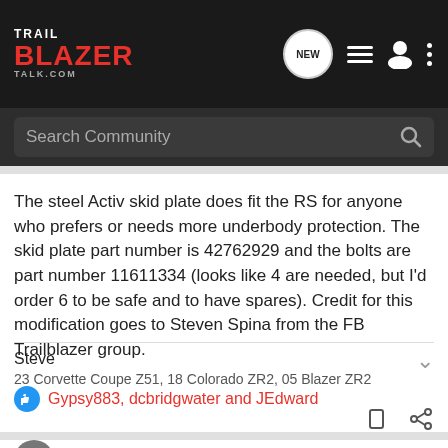TRAIL BLAZER TALK.COM — navigation bar with NEW, list, profile, and more icons
Search Community
The steel Activ skid plate does fit the RS for anyone who prefers or needs more underbody protection. The skid plate part number is 42762929 and the bolts are part number 11611334 (looks like 4 are needed, but I'd order 6 to be safe and to have spares). Credit for this modification goes to Steven Spina from the FB Trailblazer group.
Steve
23 Corvette Coupe Z51, 18 Colorado ZR2, 05 Blazer ZR2
Gypsy883, dcbridgwater and JEdward
brownactive · Super Moderator 🇺🇸